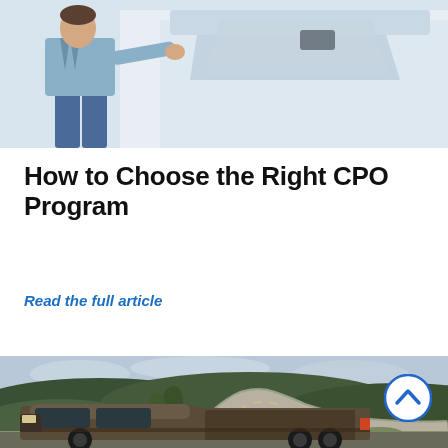[Figure (photo): Person in jeans and denim jacket standing next to a white car, opening or leaning on the door]
How to Choose the Right CPO Program
Read the full article
[Figure (photo): Winding road through green Texas Hill Country landscape with a pickup truck (dark/bronze colored) in the foreground]
[Figure (photo): Dark bronze pickup truck viewed from rear three-quarter angle]